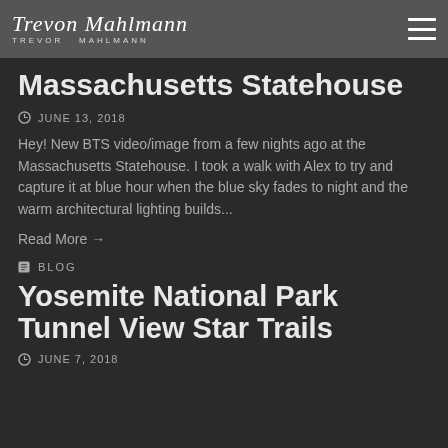Trevor Mahlmann — Logo and navigation header
Massachusetts Statehouse
JUNE 13, 2018
Hey! New BTS video/image from a few nights ago at the Massachusetts Statehouse. I took a walk with Alex to try and capture it at blue hour when the blue sky fades to night and the warm architectural lighting builds...
Read More →
BLOG
Yosemite National Park Tunnel View Star Trails
JUNE 7, 2018